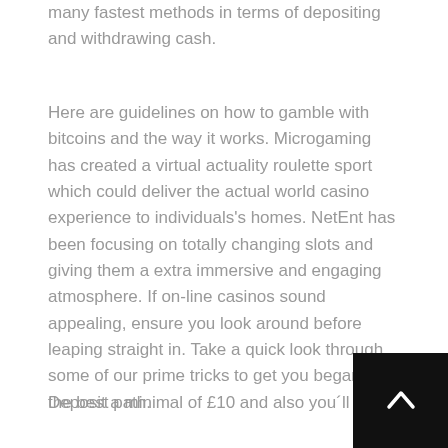many fastest methods in terms of depositing and withdrawing cash.
Here are guidelines on how to gamble with bitcoins and the way it works. Microgaming has created a virtual actuality roulette sport which could deliver the actual world casino experience to individuals's homes. NetEnt has been focusing on totally changing slots and giving them a extra immersive and engaging atmosphere. If on-line casinos sound appealing, ensure you look around before leaping straight in. Take a quick look through some of our prime tricks to get you began on the best path.
Deposit a minimal of £10 and also you´ll get a
[Figure (other): Black square button with a white upward arrow (scroll-to-top button), positioned in the bottom-right corner.]